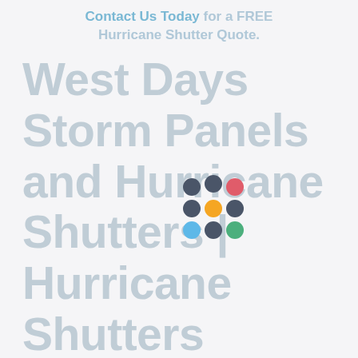Contact Us Today for a FREE Hurricane Shutter Quote.
West Days Storm Panels and Hurricane Shutters | Hurricane Shutters Florida
[Figure (logo): Colorful dot grid logo with dark blue, red, yellow, blue, and green circles arranged in a 3x3 grid pattern]
If you have been looking for the ultimate in home protection and want the top hurricane shutters West Days has for sale, then come to HurricaneShuttersFlorida.com, where we can outfit your home with the perfect exterior...